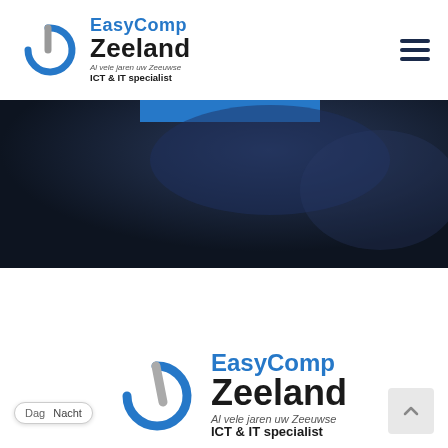[Figure (logo): EasyComp Zeeland logo in header - blue power button icon with text EasyComp Zeeland, Al vele jaren uw Zeeuwse ICT & IT specialist]
[Figure (illustration): Dark navy/blue gradient hero banner image, partially showing a blue rectangular tab at top center]
[Figure (logo): EasyComp Zeeland logo at bottom - larger version with blue power button icon and text EasyComp Zeeland, Al vele jaren uw Zeeuwse ICT & IT specialist]
Dag  Nacht
[Figure (other): Scroll-to-top button with upward chevron arrow]